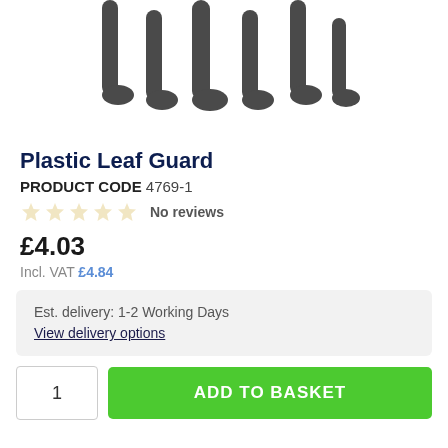[Figure (photo): Partial top view of a plastic leaf guard product showing comb-like tines on a white background]
Plastic Leaf Guard
PRODUCT CODE 4769-1
No reviews
£4.03
Incl. VAT £4.84
Est. delivery: 1-2 Working Days
View delivery options
1
ADD TO BASKET